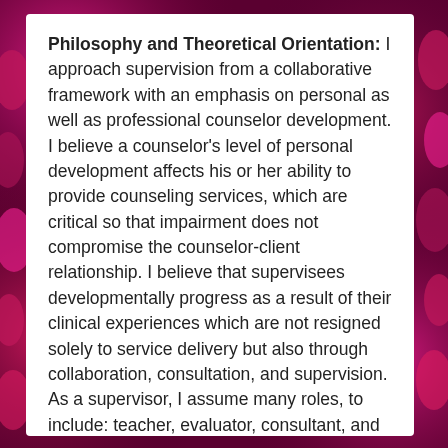Philosophy and Theoretical Orientation: I approach supervision from a collaborative framework with an emphasis on personal as well as professional counselor development. I believe a counselor's level of personal development affects his or her ability to provide counseling services, which are critical so that impairment does not compromise the counselor-client relationship. I believe that supervisees developmentally progress as a result of their clinical experiences which are not resigned solely to service delivery but also through collaboration, consultation, and supervision. As a supervisor, I assume many roles, to include: teacher, evaluator, consultant, and counselor. Specific attention is placed on skill development and professional growth to